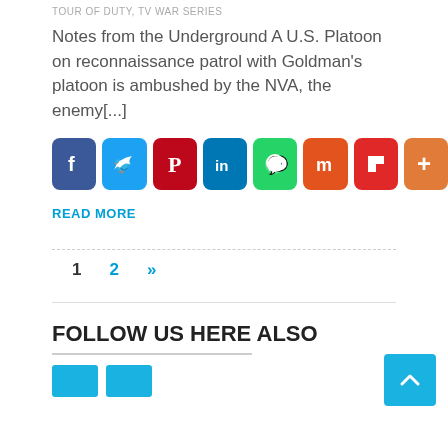TOUR OF DUTY, TV WAR SERIES
Notes from the Underground A U.S. Platoon on reconnaissance patrol with Goldman's platoon is ambushed by the NVA, the enemy[...]
[Figure (infographic): Row of social media share buttons: Facebook (blue), Twitter (light blue), Pinterest (red), LinkedIn (dark blue), WhatsApp (green), Mix (orange-red), Flipboard (red), More/Plus (orange)]
READ MORE
1   2   »
FOLLOW US HERE ALSO
[Figure (infographic): Two cyan/teal follow buttons at bottom]